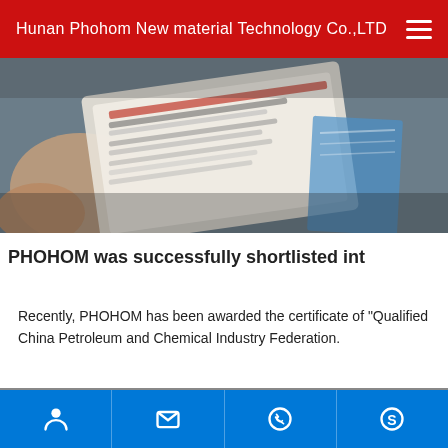Hunan Phohom New material Technology Co.,LTD
[Figure (photo): Hands holding a tablet or catalog with product listings, in a business setting]
PHOHOM was successfully shortlisted int...
Recently, PHOHOM has been awarded the certificate of "Qualified... China Petroleum and Chemical Industry Federation.
[Figure (photo): Close-up of a wooden framed certificate or award plaque with gold decorative border]
Contact icons: person, email, phone, Skype